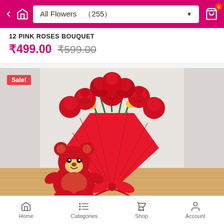All Flowers (255)
12 PINK ROSES BOUQUET
₹499.00 ₹599.00
[Figure (photo): Red roses bouquet in red paper wrapping with a small red teddy bear, placed on a wooden surface. Sale! badge in top left corner.]
Home  Categories  Shop  Account